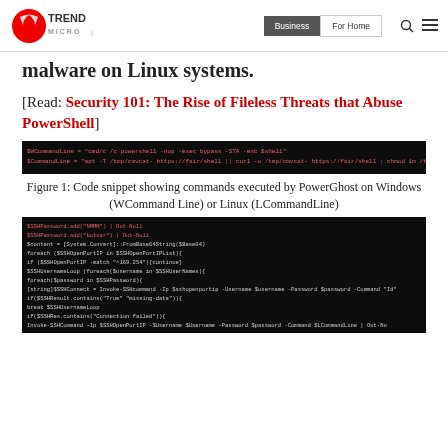Trend Micro | Business | For Home
malware on Linux systems.
[Read: Security 101: The Rise of Fileless Threats that Abuse PowerShell]
[Figure (screenshot): Black terminal/code screenshot showing PowerGhost command lines including WCommandLine and LCommandLine variables]
Figure 1: Code snippet showing commands executed by PowerGhost on Windows (WCommand Line) or Linux (LCommandLine)
[Figure (screenshot): Black terminal/code screenshot showing PowerGhost PowerShell script with SSH password, SSHOpenPortList loop, SSHUsername loop, Invoke-SSHCommand, and connection failed handling code]